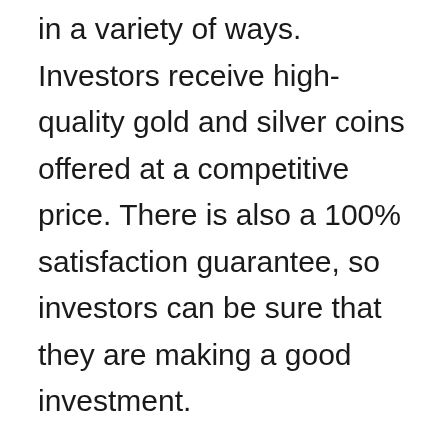American Hartford Gold helps clients to invest in a variety of ways. Investors receive high-quality gold and silver coins offered at a competitive price. There is also a 100% satisfaction guarantee, so investors can be sure that they are making a good investment.
Gold IRAs are an excellent way to save for retirement. They are tax-deferred, which means you don't have to pay taxes on the money you save in them now. American Hartford Gold can help you buy and sell precious metals. American Hartford Gold provides quality customer service, industry experts, extensive historical investment data